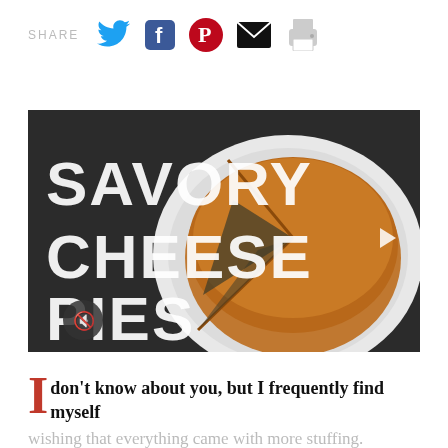SHARE [Twitter] [Facebook] [Pinterest] [Email] [Print]
[Figure (photo): Video thumbnail showing a savory cheese pie on a white plate against a dark background, with overlaid white text reading 'SAVORY CHEESE PIES' and a play button icon, plus a muted audio icon in the bottom left.]
I don't know about you, but I frequently find myself wishing that everything came with more stuffing. I've never encountered a pie, dumpling, or calzone